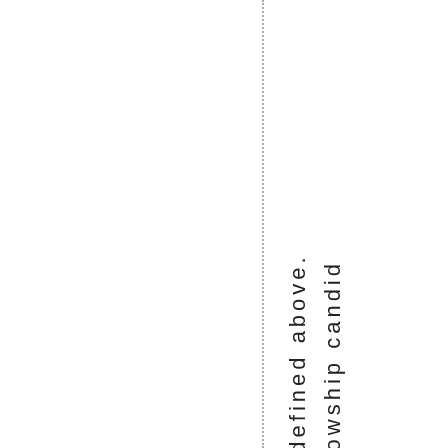a defined above.
Fellowship candid